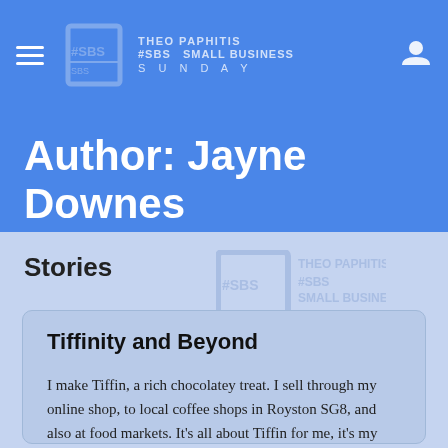Theo Paphitis Small Business Sunday
Author: Jayne Downes
Stories
Tiffinity and Beyond
I make Tiffin, a rich chocolatey treat. I sell through my online shop, to local coffee shops in Royston SG8, and also at food markets. It's all about Tiffin for me, it's my passion. If it